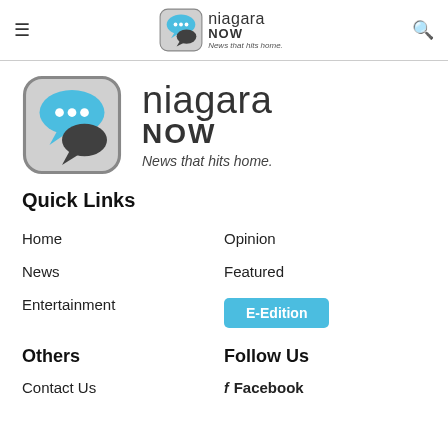niagara NOW — News that hits home. (header navigation bar)
[Figure (logo): Niagara NOW logo — large version with chat bubble icon, 'niagara NOW News that hits home.']
Quick Links
Home
Opinion
News
Featured
Entertainment
E-Edition
Others
Follow Us
Contact Us
Facebook